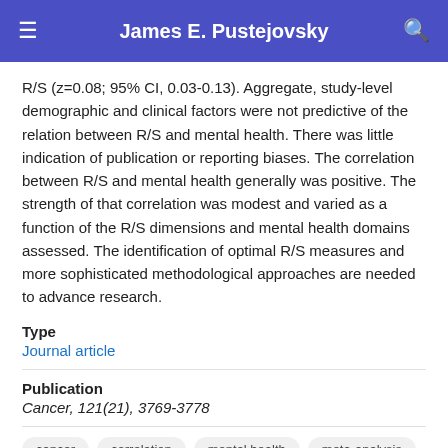James E. Pustejovsky
R/S (z=0.08; 95% CI, 0.03-0.13). Aggregate, study-level demographic and clinical factors were not predictive of the relation between R/S and mental health. There was little indication of publication or reporting biases. The correlation between R/S and mental health generally was positive. The strength of that correlation was modest and varied as a function of the R/S dimensions and mental health domains assessed. The identification of optimal R/S measures and more sophisticated methodological approaches are needed to advance research.
Type
Journal article
Publication
Cancer, 121(21), 3769-3778
cancer
correlation
mental health
meta-analysis
religion/spirituality
systematic review